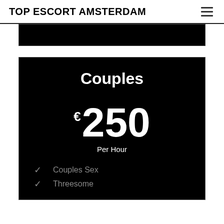TOP ESCORT AMSTERDAM
Couples
€250 Per Hour
✓ Couples Sex
✓ Threesome